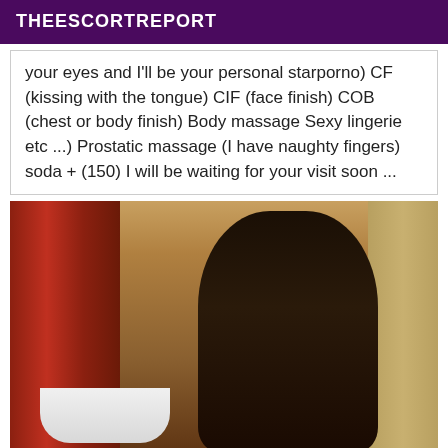THEESCORTREPORT
your eyes and I'll be your personal starporno) CF (kissing with the tongue) CIF (face finish) COB (chest or body finish) Body massage Sexy lingerie etc ...) Prostatic massage (I have naughty fingers) soda + (150) I will be waiting for your visit soon ...
[Figure (photo): A person taking a mirror selfie in a room with red curtains and a bathtub visible in the background.]